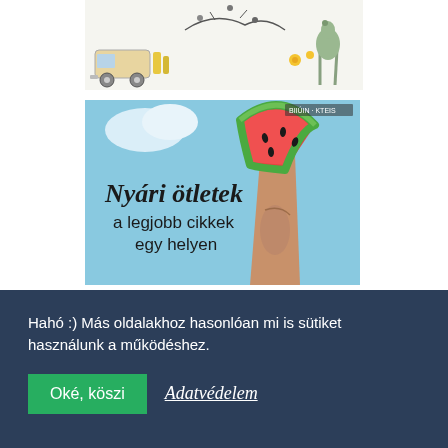[Figure (illustration): Decorative illustration with caravan, animals, and floral motifs on white background]
[Figure (photo): Photo of a hand holding a watermelon slice against a blue sky background with text 'Nyári ötletek a legjobb cikkek egy helyen']
[Figure (photo): Photo of a home office/room interior with text 'otthonmunka tippek, stratégiák, öngondoskodás']
Hahó :) Más oldalakhoz hasonlóan mi is sütiket használunk a működéshez.
Oké, köszi
Adatvédelem